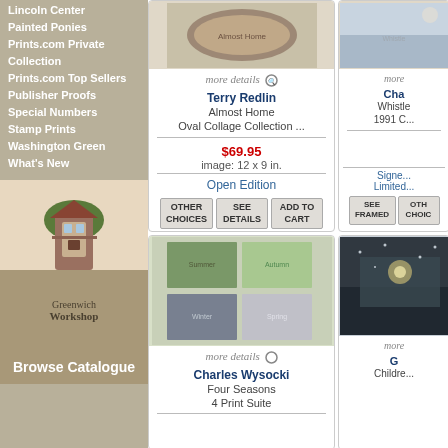Lincoln Center
Painted Ponies
Prints.com Private Collection
Prints.com Top Sellers
Publisher Proofs
Special Numbers
Stamp Prints
Washington Green
What's New
[Figure (photo): Greenwich Workshop catalogue cover showing a fantasy treehouse illustration]
Browse Catalogue
[Figure (photo): Terry Redlin Almost Home print - oval collage collection]
more details
Terry Redlin
Almost Home
Oval Collage Collection ...
$69.95
image: 12 x 9 in.
Open Edition
OTHER CHOICES | SEE DETAILS | ADD TO CART
[Figure (photo): Charles (Cha) print partially visible - Whistle 1991 C]
more details
Signed Limited
SEE FRAMED | OTHER CHOICES
[Figure (photo): Charles Wysocki Four Seasons 4 Print Suite - collage of four seasonal scenes]
more details
Charles Wysocki
Four Seasons
4 Print Suite
[Figure (photo): G artwork - Children partial view, dark snowy scene]